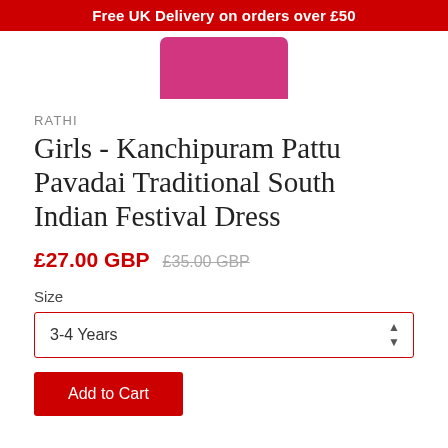Free UK Delivery on orders over £50
[Figure (photo): Partial view of a pink/magenta traditional Indian dress product image cropped at the top]
RATHI
Girls - Kanchipuram Pattu Pavadai Traditional South Indian Festival Dress
£27.00 GBP £35.00 GBP
Size
3-4 Years
Add to Cart